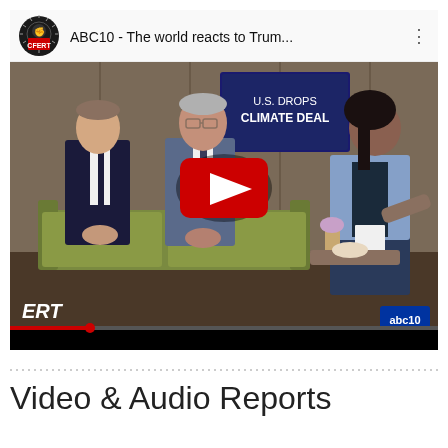[Figure (screenshot): YouTube video thumbnail showing ABC10 news segment titled 'ABC10 - The world reacts to Trum...' with three people seated in a TV studio: two men in suits on a green couch and a woman in a denim jacket. A news chyron reads 'U.S. DROPS CLIMATE DEAL'. A red YouTube play button is centered on the image. ERT and abc10 logos are visible in the lower corners.]
Video & Audio Reports